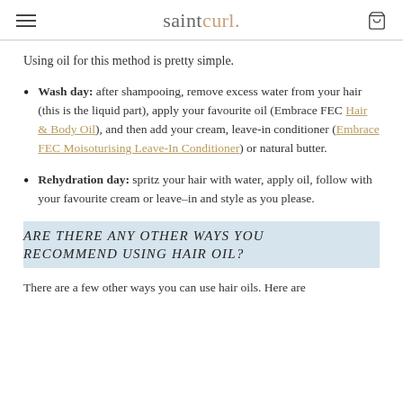saintcurl.
Using oil for this method is pretty simple.
Wash day: after shampooing, remove excess water from your hair (this is the liquid part), apply your favourite oil (Embrace FEC Hair & Body Oil), and then add your cream, leave-in conditioner (Embrace FEC Moisoturising Leave-In Conditioner) or natural butter.
Rehydration day: spritz your hair with water, apply oil, follow with your favourite cream or leave–in and style as you please.
ARE THERE ANY OTHER WAYS YOU RECOMMEND USING HAIR OIL?
There are a few other ways you can use hair oils. Here are